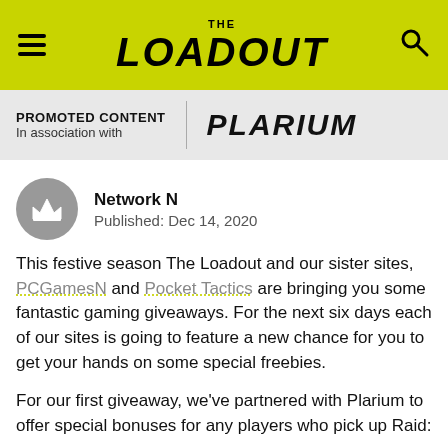THE LOADOUT
PROMOTED CONTENT
In association with  PLARIUM
Network N
Published: Dec 14, 2020
This festive season The Loadout and our sister sites, PCGamesN and Pocket Tactics are bringing you some fantastic gaming giveaways. For the next six days each of our sites is going to feature a new chance for you to get your hands on some special freebies.
For our first giveaway, we've partnered with Plarium to offer special bonuses for any players who pick up Raid: